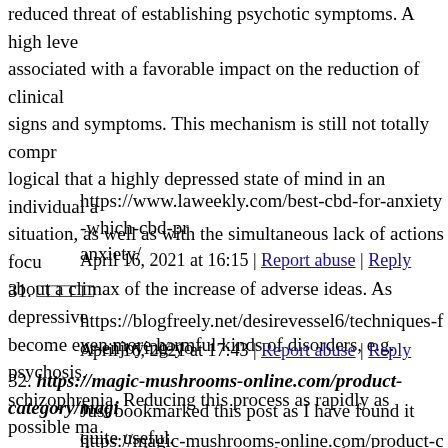reduced threat of establishing psychotic symptoms. A high level associated with a favorable impact on the reduction of clinical signs and symptoms. This mechanism is still not totally comprehensible, logical that a highly depressed state of mind in an individual and situation, as well as with the simultaneous lack of actions focused about a climax of the increase of adverse ideas. As depressive become even more harmful kinds of disorders, e.g. psychosis, schizophrenia. Reducing this process as rapidly as possible makes reliable therapy of mental illness of human functioning.
https://www.laweekly.com/best-cbd-for-anxiety-which-cbd-products-for-anxiety/
April 16, 2021 at 16:15 | Report abuse | Reply
31. □□□□□
https://blogfreely.net/desirevessel6/techniques-for-enjoying-yo
April 16, 2021 at 17:43 | Report abuse | Reply
32. https://magic-mushrooms-online.com/product-category/magic-mushrooms/
Just bookmarked this post as I have found it quite useful.
https://magic-mushrooms-online.com/product-category/magic-
April 16, 2021 at 22:18 | Report abuse | Reply